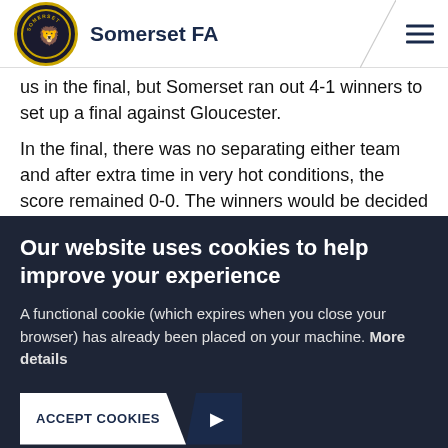Somerset FA
us in the final, but Somerset ran out 4-1 winners to set up a final against Gloucester.
In the final, there was no separating either team and after extra time in very hot conditions, the score remained 0-0. The winners would be decided on Penalties and after 5 pens each the score was 3-3. This meant sudden death
Our website uses cookies to help improve your experience
A functional cookie (which expires when you close your browser) has already been placed on your machine. More details
ACCEPT COOKIES